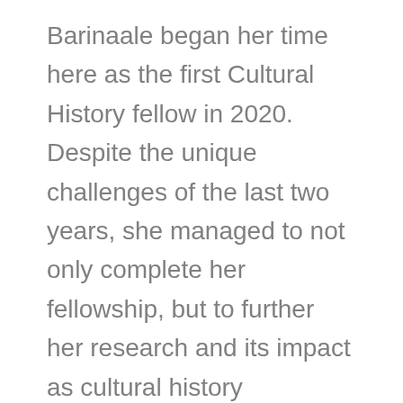Barinaale began her time here as the first Cultural History fellow in 2020. Despite the unique challenges of the last two years, she managed to not only complete her fellowship, but to further her research and its impact as cultural history interpreter. This report contains summaries of her findings focused on three families integral to the history of the Bull Run Mountains, as well as discussions of the importance of Black history and the